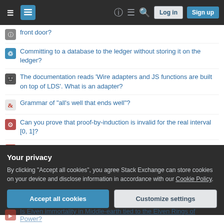Stack Exchange navigation bar with hamburger menu, logo, help, chat, search icons, Log in and Sign up buttons
front door?
Committing to a database to the ledger without storing it on the ledger?
The documentation reads 'Wire adapters and JS functions are built on top of LDS'. What is an adapter?
Grammar of "all's well that ends well"?
Can you prove that proof-by-induction is invalid for the real interval [0, 1]?
Are threads as weapons real?
On the induction argument of the "many paths to a basis" theorem
Plotting a circular bar-chart in 3d with mathematica
Your privacy
By clicking "Accept all cookies", you agree Stack Exchange can store cookies on your device and disclose information in accordance with our Cookie Policy.
Is Elven immortality in Middle-earth tied to the Elven Rings of Power?